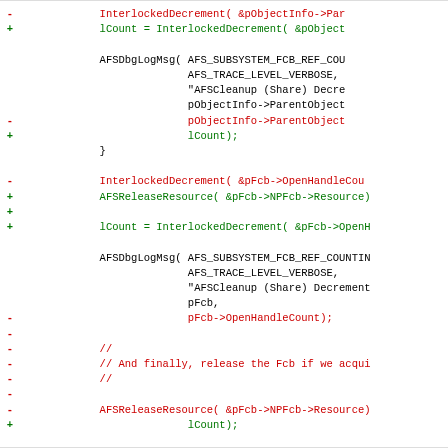[Figure (other): Code diff snippet showing changes to a C/C++ source file involving InterlockedDecrement, AFSReleaseResource, AFSDbgLogMsg and related functions. Removed lines in red, added lines in green, unchanged lines in black.]